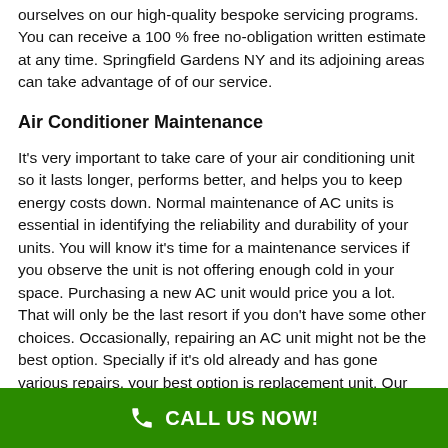ourselves on our high-quality bespoke servicing programs. You can receive a 100 % free no-obligation written estimate at any time. Springfield Gardens NY and its adjoining areas can take advantage of of our service.
Air Conditioner Maintenance
It's very important to take care of your air conditioning unit so it lasts longer, performs better, and helps you to keep energy costs down. Normal maintenance of AC units is essential in identifying the reliability and durability of your units. You will know it's time for a maintenance services if you observe the unit is not offering enough cold in your space. Purchasing a new AC unit would price you a lot. That will only be the last resort if you don't have some other choices. Occasionally, repairing an AC unit might not be the best option. Specially if it's old already and has gone various repairs, your best option is replacement unit. Our replacement service
CALL US NOW!